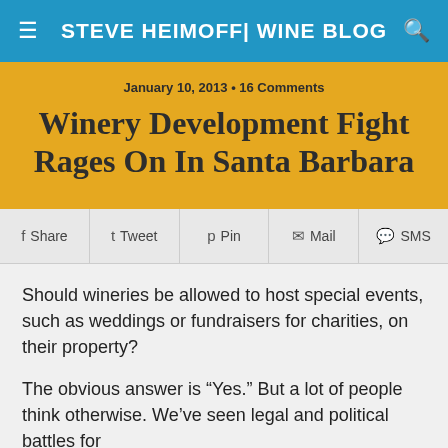STEVE HEIMOFF| WINE BLOG
January 10, 2013 • 16 Comments
Winery Development Fight Rages On In Santa Barbara
Share  Tweet  Pin  Mail  SMS
Should wineries be allowed to host special events, such as weddings or fundraisers for charities, on their property?
The obvious answer is “Yes.” But a lot of people think otherwise. We’ve seen legal and political battles for